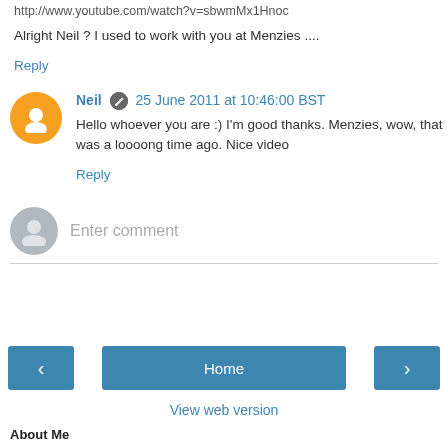http://www.youtube.com/watch?v=sbwmMx1Hnoc
Alright Neil ? I used to work with you at Menzies ....
Reply
Neil  25 June 2011 at 10:46:00 BST
Hello whoever you are :) I'm good thanks. Menzies, wow, that was a loooong time ago. Nice video
Reply
Enter comment
Home
View web version
About Me